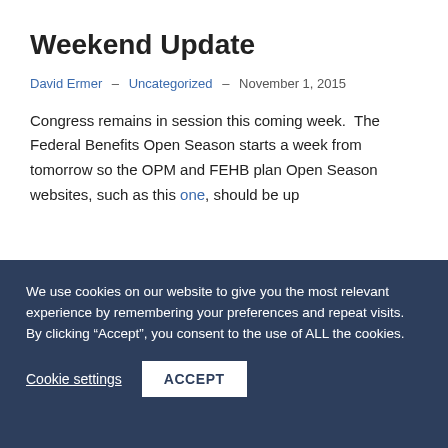Weekend Update
David Ermer – Uncategorized – November 1, 2015
Congress remains in session this coming week.  The Federal Benefits Open Season starts a week from tomorrow so the OPM and FEHB plan Open Season websites, such as this one, should be up
We use cookies on our website to give you the most relevant experience by remembering your preferences and repeat visits. By clicking “Accept”, you consent to the use of ALL the cookies.
Cookie settings  ACCEPT